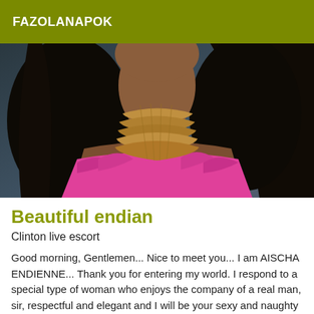FAZOLANAPOK
[Figure (photo): A woman with long dark hair, wearing a pink ruffled top and layered gold/brown bead necklaces, photographed from the torso up against a dark background.]
Beautiful endian
Clinton live escort
Good morning, Gentlemen... Nice to meet you... I am AISCHA ENDIENNE... Thank you for entering my world. I respond to a special type of woman who enjoys the company of a real man, sir, respectful and elegant and I will be your sexy and naughty pleasure. Class well